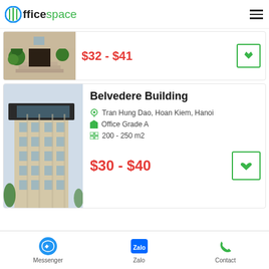OfficeSspace
[Figure (photo): Partial view of a building entrance with trimmed topiary bushes]
$32 - $41
Belvedere Building
Tran Hung Dao, Hoan Kiem, Hanoi
Office Grade A
200 - 250 m2
$30 - $40
Messenger   Zalo   Contact